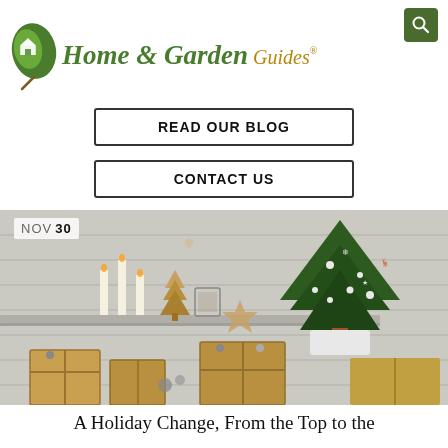[Figure (logo): Home & Garden Guides logo with green leaf icon and stylized text]
[Figure (other): Green search icon button in top right corner]
READ OUR BLOG
CONTACT US
[Figure (photo): Christmas holiday scene with decorated tree, wrapped gifts in kraft paper, and shelf with holiday decorations on white wood paneled background. Date badge shows NOV 30.]
A Holiday Change, From the Top to the